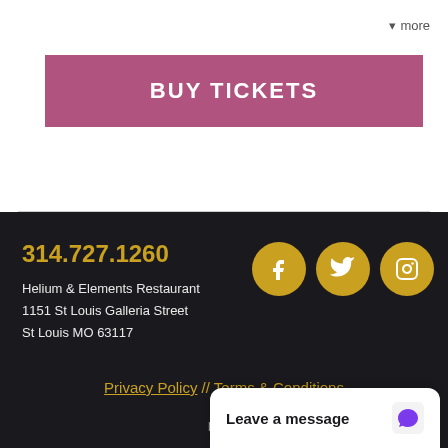▾ more
BUY TICKETS
314.727.1260
Helium & Elements Restaurant
1151 St Louis Galleria Street
St Louis MO 63117
[Figure (infographic): Three gold circular social media icons: Facebook, Twitter, Instagram]
Privacy Policy // Terms & Conditions
Powered by
Leave a message